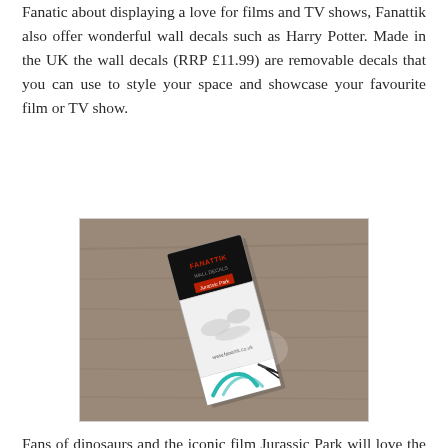Fanatic about displaying a love for films and TV shows, Fanattik also offer wonderful wall decals such as Harry Potter. Made in the UK the wall decals (RRP £11.99) are removable decals that you can use to style your space and showcase your favourite film or TV show.
[Figure (photo): Photo of a Jurassic Park wall decal package lying on a wooden surface, showing the packaging with dinosaur decal designs, teal claw marks, and black scratch marks.]
Fans of dinosaurs and the iconic film Jurassic Park will love the set of Jurassic Park wall decals.
[Figure (photo): Close-up photo of Jurassic Park wall decals applied to a white surface, showing teal claw/velociraptor marks and a dinosaur illustration with the Jurassic Park logo text visible.]